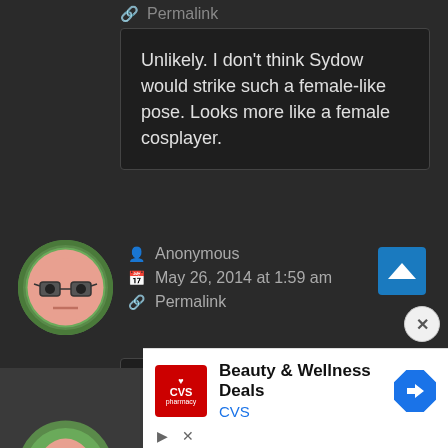Permalink
Unlikely. I don't think Sydow would strike such a female-like pose. Looks more like a female cosplayer.
[Figure (illustration): Anonymous user avatar — cartoon face with glasses on green circular background]
Anonymous
May 26, 2014 at 1:59 am
Permalink
A female coplayer would smell profusely and would be morbidly obese.
[Figure (illustration): CVS pharmacy advertisement — Beauty & Wellness Deals, CVS logo, blue navigation arrow icon]